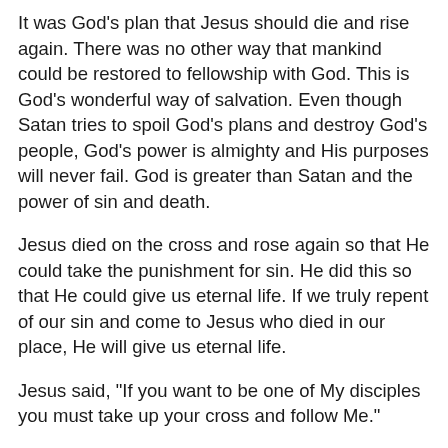It was God's plan that Jesus should die and rise again. There was no other way that mankind could be restored to fellowship with God. This is God's wonderful way of salvation. Even though Satan tries to spoil God's plans and destroy God's people, God's power is almighty and His purposes will never fail. God is greater than Satan and the power of sin and death.
Jesus died on the cross and rose again so that He could take the punishment for sin. He did this so that He could give us eternal life. If we truly repent of our sin and come to Jesus who died in our place, He will give us eternal life.
Jesus said, "If you want to be one of My disciples you must take up your cross and follow Me."
This means that we must be ready to suffer, just like Jesus did. People did many bad things to Jesus even though He